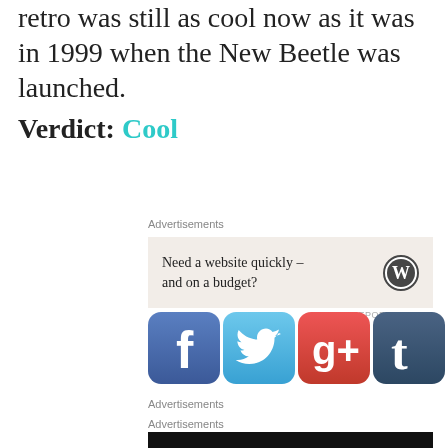retro was still as cool now as it was in 1999 when the New Beetle was launched.
Verdict: Cool
Advertisements
[Figure (infographic): Advertisement box with beige background: 'Need a website quickly – and on a budget?' with WordPress logo]
REPORT THIS AD
[Figure (infographic): Social media share icons: Facebook (blue), Twitter (light blue), Google+ (red), Tumblr (dark blue), RSS (orange)]
Advertisements
Advertisements
[Figure (infographic): Advertisement banner black background: logo '2' and text 'Fewer meetings, more work.']
REPORT THIS AD